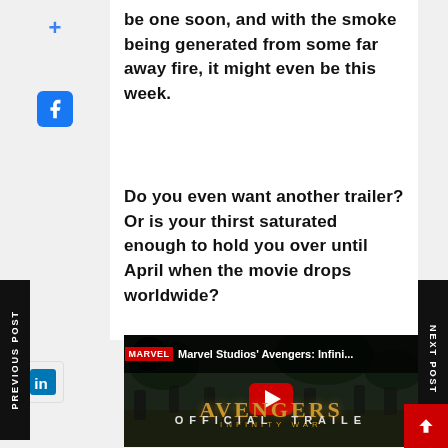be one soon, and with the smoke being generated from some far away fire, it might even be this week.
Do you even want another trailer? Or is your thirst saturated enough to hold you over until April when the movie drops worldwide?
[Figure (screenshot): YouTube video embed thumbnail for Marvel Studios' Avengers: Infinity War Official Trailer, showing action scene with characters running, AVENGERS INFINITY WAR title text, and YouTube play button]
PREVIOUS POST | NEXT POST